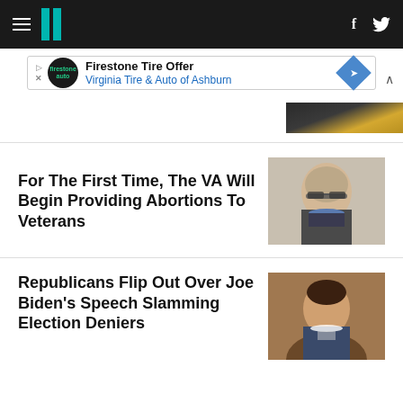HuffPost navigation bar with logo, hamburger menu, Facebook and Twitter icons
[Figure (other): Advertisement banner: Firestone Tire Offer - Virginia Tire & Auto of Ashburn]
[Figure (photo): Partial photo of a person in a suit with a yellow tie, partially visible at top right]
For The First Time, The VA Will Begin Providing Abortions To Veterans
[Figure (photo): Headshot of a middle-aged man with grey hair and glasses, wearing a suit]
Republicans Flip Out Over Joe Biden's Speech Slamming Election Deniers
[Figure (photo): Headshot of a younger man with dark hair, speaking with hand raised]